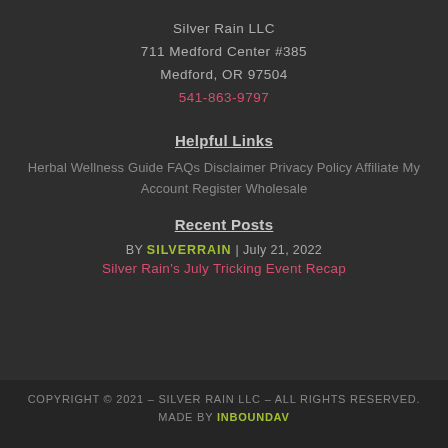Silver Rain LLC
711 Medford Center #385
Medford, OR 97504
541-863-9797
Helpful Links
Herbal Wellness Guide FAQs Disclaimer Privacy Policy Affiliate My Account Register Wholesale
Recent Posts
BY SILVERRAIN | July 21, 2022
Silver Rain's July Tricking Event Recap
COPYRIGHT © 2021 – Silver Rain LLC – ALL RIGHTS RESERVED. MADE BY INBOUNDAV